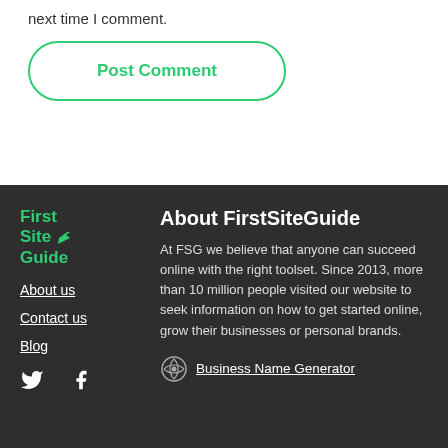next time I comment.
Post Comment
[Figure (logo): FirstSiteGuide logo with green text and arrow icon]
About us
Contact us
Blog
[Figure (other): Twitter and Facebook social media icons in white]
About FirstSiteGuide
At FSG we believe that anyone can succeed online with the right toolset. Since 2013, more than 10 million people visited our website to seek information on how to get started online, grow their businesses or personal brands.
Business Name Generator